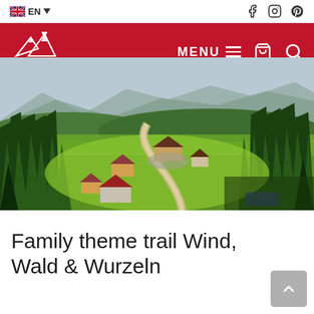EN — Our Swiss Experience website header with navigation: MENU, cart, search icons; social icons: Facebook, Instagram, Pinterest
[Figure (photo): Aerial view of a Swiss mountain village with chalets and farmhouses nestled among green meadows and dense conifer forests, with a winding road and mountain valley in background]
Family theme trail Wind, Wald & Wurzeln